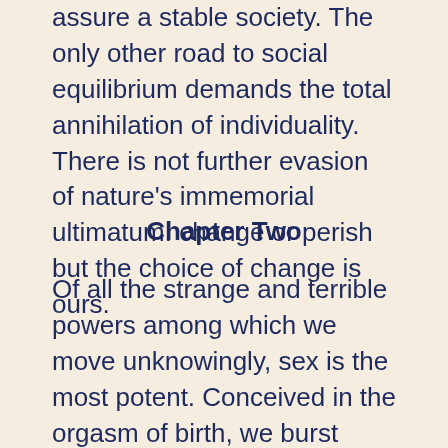assure a stable society. The only other road to social equilibrium demands the total annihilation of individuality. There is not further evasion of nature's immemorial ultimatum: change or perish but the choice of change is ours.
Chapter Two
Of all the strange and terrible powers among which we move unknowingly, sex is the most potent. Conceived in the orgasm of birth, we burst forth in agony and ecstasy from the Center of Creation. Time and again we return to that fountain, lose ourselves in the fires of being, unite for a moment